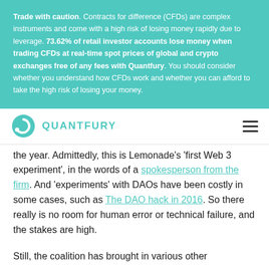Trade with caution. Contracts for difference (CFDs) are complex instruments and come with a high risk of losing money rapidly due to leverage. 73.62% of retail investor accounts lose money when trading CFDs at real-time spot prices of global and crypto exchanges free of any fees with Quantfury. You should consider whether you understand how CFDs work and whether you can afford to take the high risk of losing your money.
QUANTFURY
the year. Admittedly, this is Lemonade's 'first Web 3 experiment', in the words of a spokesperson from the firm. And 'experiments' with DAOs have been costly in some cases, such as The DAO hack in 2016. So there really is no room for human error or technical failure, and the stakes are high.
Still, the coalition has brought in various other